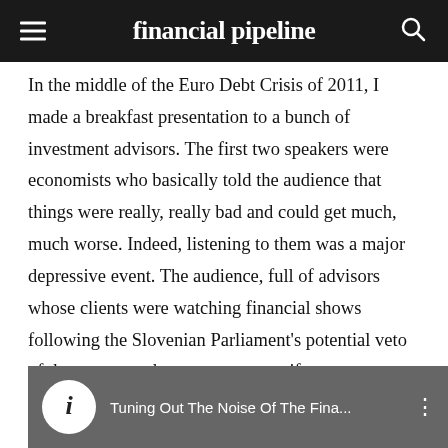financial pipeline
In the middle of the Euro Debt Crisis of 2011, I made a breakfast presentation to a bunch of investment advisors. The first two speakers were economists who basically told the audience that things were really, really bad and could get much, much worse. Indeed, listening to them was a major depressive event. The audience, full of advisors whose clients were watching financial shows following the Slovenian Parliament’s potential veto of the rescue package, was morose if not catatonically despairing.
[Figure (screenshot): Video thumbnail for 'Tuning Out The Noise Of The Fina...' with circular logo icon on dark background]